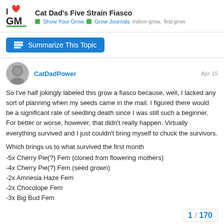Cat Dad's Five Strain Fiasco | Show Your Grow | Grow Journals | indoor-grow, first-grow
Summarize This Topic
CatDadPower  Apr 15
So I've half jokingly labeled this grow a fiasco because, well, I lacked any sort of planning when my seeds came in the mail. I figured there would be a significant rate of seedling death since I was still such a beginner. For better or worse, however, that didn't really happen. Virtually everything survived and I just couldn't bring myself to chuck the survivors.
Which brings us to what survived the first month
-5x Cherry Pie(?) Fem (cloned from flowering mothers)
-4x Cherry Pie(?) Fem (seed grown)
-2x Amnesia Haze Fem
-2x Chocolope Fem
-3x Big Bud Fem
1 / 170